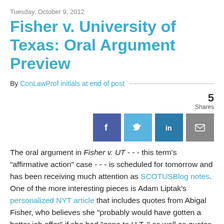Tuesday, October 9, 2012
Fisher v. University of Texas: Oral Argument Preview
By ConLawProf initials at end of post
5 Shares
The oral argument in Fisher v. UT - - - this term's "affirmative action" case - - - is scheduled for tomorrow and has been receiving much attention as SCOTUSBlog notes. One of the more interesting pieces is Adam Liptak's personalized NYT article that includes quotes from Abigal Fisher, who believes she "probably would have gotten a better job offer" if she had "gone to U.T.," as well as quotes from students.  There is noteworthy